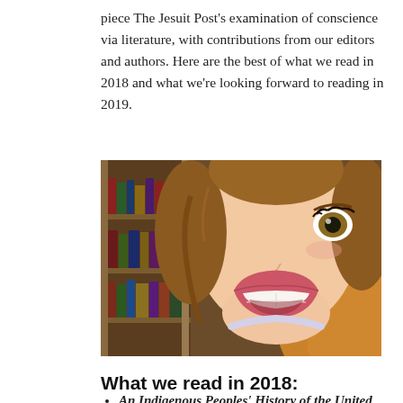piece The Jesuit Post's examination of conscience via literature, with contributions from our editors and authors. Here are the best of what we read in 2018 and what we're looking forward to reading in 2019.
[Figure (illustration): Animated cartoon illustration of Belle from Beauty and the Beast, close-up of her face with mouth open in excitement, in front of a library bookshelf.]
What we read in 2018:
An Indigenous Peoples' History of the United